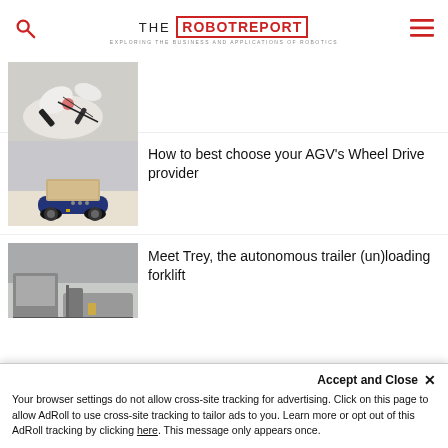THE ROBOT REPORT — EXPLORING THE BUSINESS AND APPLICATIONS OF ROBOTICS
[Figure (photo): Robotic gripper/claw device with electronics and wires on a surface]
How to best choose your AGV's Wheel Drive provider
[Figure (photo): Blue autonomous mobile robot (AGV) carrying a cardboard box in a warehouse]
Meet Trey, the autonomous trailer (un)loading forklift
[Figure (photo): Autonomous forklift trailer loading in warehouse]
Accept and Close ✕
Your browser settings do not allow cross-site tracking for advertising. Click on this page to allow AdRoll to use cross-site tracking to tailor ads to you. Learn more or opt out of this AdRoll tracking by clicking here. This message only appears once.